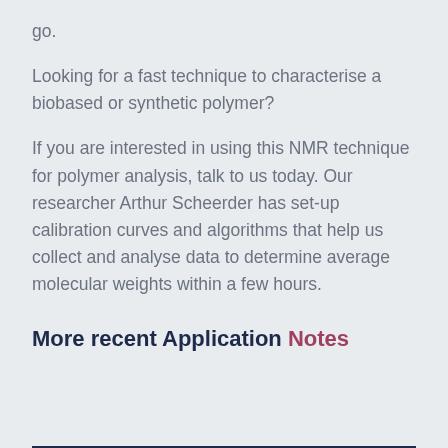go.
Looking for a fast technique to characterise a biobased or synthetic polymer?
If you are interested in using this NMR technique for polymer analysis, talk to us today. Our researcher Arthur Scheerder has set-up calibration curves and algorithms that help us collect and analyse data to determine average molecular weights within a few hours.
More recent Application Notes